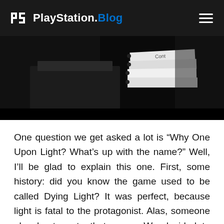PlayStation.Blog
[Figure (photo): Black and white photo of a mechanical/robotic device with white papers or cards attached, with text 'Cont' visible on one of them, against a dark background.]
One question we get asked a lot is “Why One Upon Light? What’s up with the name?” Well, I’ll be glad to explain this one. First, some history: did you know the game used to be called Dying Light? It was perfect, because light is fatal to the protagonist. Alas, someone else beat us to that name. We decided to reference light (danger, harmful), and darkness (sanctuary, safe) in our new name. And One Upon Light actually does, in fact, refer to both elements in its own way. Consider the mathematical equation: